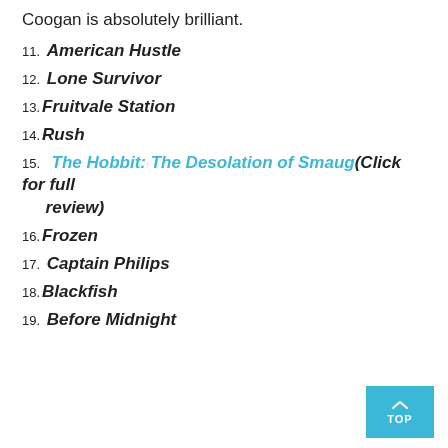Coogan is absolutely brilliant.
11. American Hustle
12. Lone Survivor
13. Fruitvale Station
14. Rush
15. The Hobbit: The Desolation of Smaug(Click for full review)
16. Frozen
17. Captain Philips
18. Blackfish
19. Before Midnight